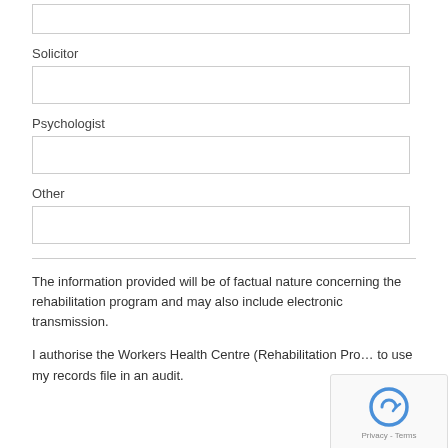Solicitor
Psychologist
Other
The information provided will be of factual nature concerning the rehabilitation program and may also include electronic transmission.
I authorise the Workers Health Centre (Rehabilitation Pro... to use my records file in an audit.